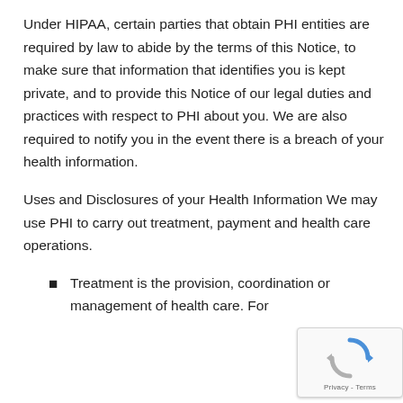Under HIPAA, certain parties that obtain PHI entities are required by law to abide by the terms of this Notice, to make sure that information that identifies you is kept private, and to provide this Notice of our legal duties and practices with respect to PHI about you. We are also required to notify you in the event there is a breach of your health information.
Uses and Disclosures of your Health Information We may use PHI to carry out treatment, payment and health care operations.
Treatment is the provision, coordination or management of health care. For
[Figure (other): reCAPTCHA privacy badge with rotating arrows icon and Privacy - Terms text]